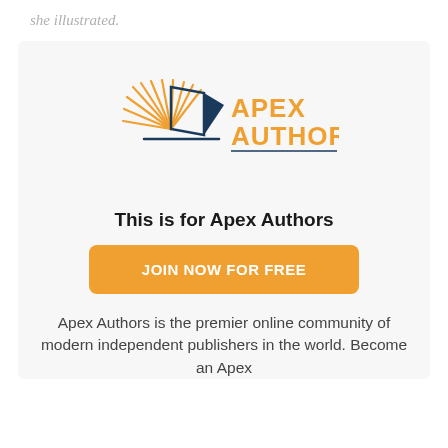she illustrated.
[Figure (logo): Apex Authors logo: orange radiating lines forming a book/page shape with a dark blue angular bookmark, and orange text reading APEX AUTHORS]
This is for Apex Authors
JOIN NOW FOR FREE
Apex Authors is the premier online community of modern independent publishers in the world. Become an Apex